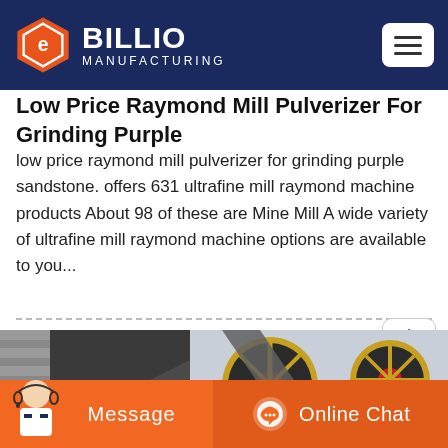BILLIO MANUFACTURING
Low Price Raymond Mill Pulverizer For Grinding Purple
low price raymond mill pulverizer for grinding purple sandstone. offers 631 ultrafine mill raymond machine products About 98 of these are Mine Mill A wide variety of ultrafine mill raymond machine options are available to you...
[Figure (photo): Industrial raymond mill pulverizer machine with large circular flywheels and belt drive system, photographed outdoors near a building.]
Message   Online Chat